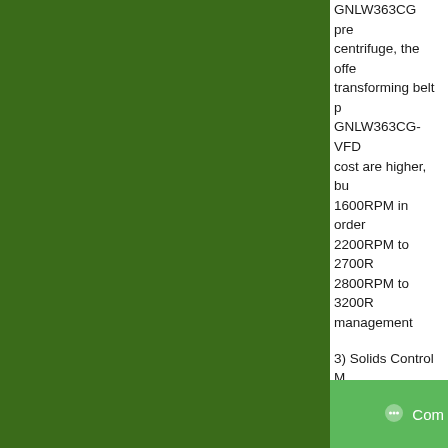GNLW363CG pre... centrifuge, the offe... transforming belt p... GNLW363CG-VFD... cost are higher, bu... 1600RPM in order ... 2200RPM to 2700R... 2800RPM to 3200R... management
3) Solids Control M... GN 4 panel mud cl... mud cleaner. The p... materials screens, ... desilter cones. Looking forward to...
Jun 26, 2016 6:37:3... Drilling Waste Mana... mud tank, shaker sc...
Com...